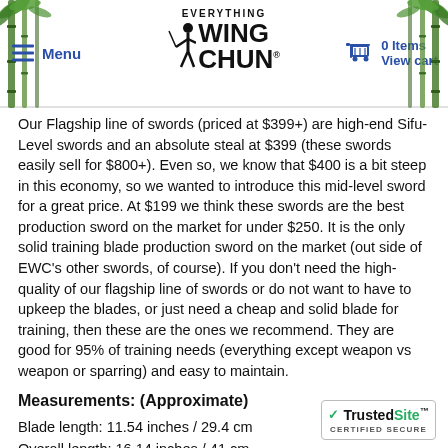Menu | EVERYTHING WING CHUN | 0 Items View cart
Our Flagship line of swords (priced at $399+) are high-end Sifu-Level swords and an absolute steal at $399 (these swords easily sell for $800+). Even so, we know that $400 is a bit steep in this economy, so we wanted to introduce this mid-level sword for a great price. At $199 we think these swords are the best production sword on the market for under $250. It is the only solid training blade production sword on the market (out side of EWC's other swords, of course). If you don't need the high-quality of our flagship line of swords or do not want to have to upkeep the blades, or just need a cheap and solid blade for training, then these are the ones we recommend. They are good for 95% of training needs (everything except weapon vs weapon or sparring) and easy to maintain.
Measurements: (Approximate)
Blade length: 11.54 inches / 29.4 cm
Overall length: 16.14 inches / 41 cm